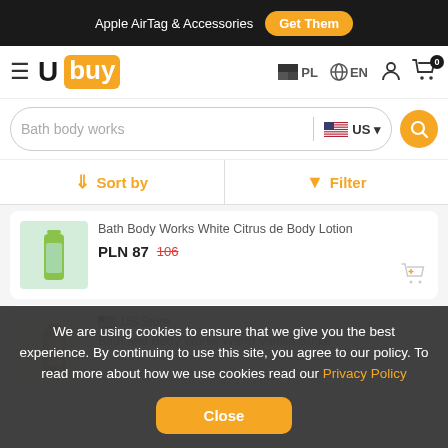Apple AirTag & Accessories  Get Them
Ubuy  PL  EN  (navigation icons)  0
Bath body works  US
Sort by  Filter
Bath Body Works White Citrus de Body Lotion
PLN 87  106
US Store
Bath and Body Works Warm Vanilla Sugar
We are using cookies to ensure that we give you the best experience. By continuing to use this site, you agree to our policy. To read more about how we use cookies read our Privacy Policy  Close